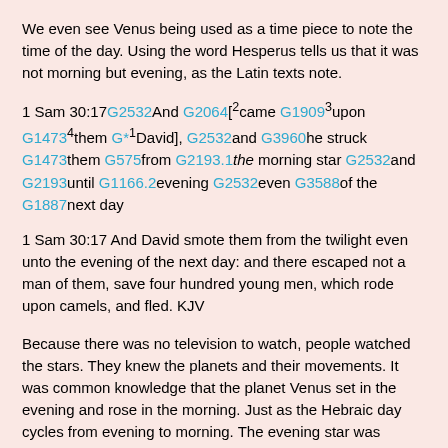We even see Venus being used as a time piece to note the time of the day. Using the word Hesperus tells us that it was not morning but evening, as the Latin texts note.
1 Sam 30:17 G2532 And G2064 [2 came G1909 3 upon G1473 4 them G*1 David], G2532 and G3960 he struck G1473 them G575 from G2193.1 the morning star G2532 and G2193 until G1166.2 evening G2532 even G3588 of the G1887 next day
1 Sam 30:17 And David smote them from the twilight even unto the evening of the next day: and there escaped not a man of them, save four hundred young men, which rode upon camels, and fled. KJV
Because there was no television to watch, people watched the stars. They knew the planets and their movements. It was common knowledge that the planet Venus set in the evening and rose in the morning. Just as the Hebraic day cycles from evening to morning. The evening star was communicated as Hesperus, the one who attempted to rise above the other planets, but instead fell and looked broken as it streaked under the horizon. Phosphorus was the morning star, the day star, the bright star